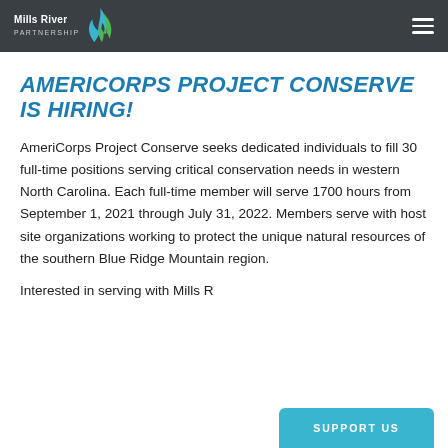Mills River Partnership
AMERICORPS PROJECT CONSERVE IS HIRING!
AmeriCorps Project Conserve seeks dedicated individuals to fill 30 full-time positions serving critical conservation needs in western North Carolina. Each full-time member will serve 1700 hours from September 1, 2021 through July 31, 2022. Members serve with host site organizations working to protect the unique natural resources of the southern Blue Ridge Mountain region.
Interested in serving with Mills R...